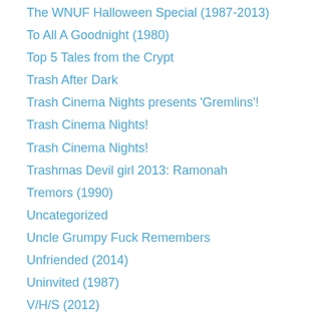The WNUF Halloween Special (1987-2013)
To All A Goodnight (1980)
Top 5 Tales from the Crypt
Trash After Dark
Trash Cinema Nights presents 'Gremlins'!
Trash Cinema Nights!
Trash Cinema Nights!
Trashmas Devil girl 2013: Ramonah
Tremors (1990)
Uncategorized
Uncle Grumpy Fuck Remembers
Unfriended (2014)
Uninvited (1987)
V/H/S (2012)
V/H/S 2 (2013)
Valentine's Day Mood Killers Top 5
Werewolf on the Moon
Who Can Kill a Child (1976)
Why Don't You Play in Hell? (2013)
Wicked Stepmother (1989)